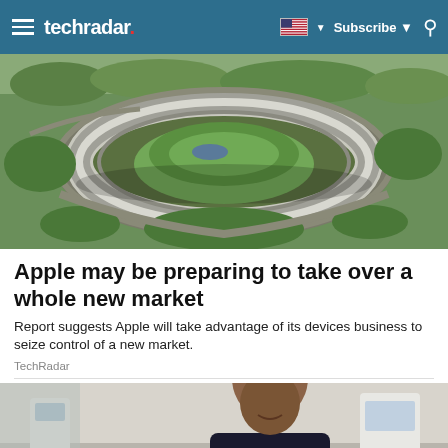techradar | Subscribe
[Figure (photo): Aerial view of Apple Park headquarters in Cupertino, a large circular building surrounded by green trees]
Apple may be preparing to take over a whole new market
Report suggests Apple will take advantage of its devices business to seize control of a new market.
TechRadar
[Figure (photo): A smiling woman in a medical or clinical setting, partial view cropped at bottom of page]